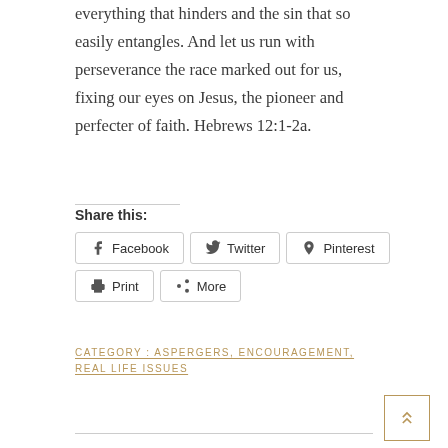everything that hinders and the sin that so easily entangles. And let us run with perseverance the race marked out for us, fixing our eyes on Jesus, the pioneer and perfecter of faith. Hebrews 12:1-2a.
Share this:
Facebook  Twitter  Pinterest  Print  More
CATEGORY : ASPERGERS, ENCOURAGEMENT, REAL LIFE ISSUES